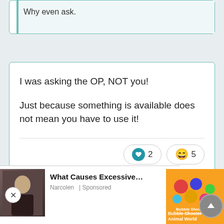Why even ask.
I was asking the OP, NOT you!

Just because something is available does not mean you have to use it!
[Figure (other): Reaction buttons: heart icon with count 2, laughing emoji with count 5]
Popular Post
[Figure (other): Advertisement overlay showing a photo of an elderly man, text 'What Causes Excessive...' with source 'Narcolen | Sponsored']
[Figure (other): Bubble Shooter Animal World game advertisement on right side]
[Figure (other): Scroll up button (arrow up circle)]